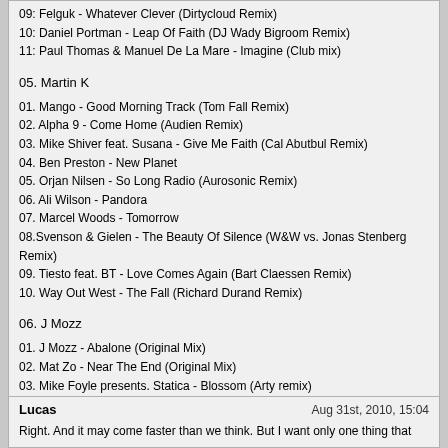09: Felguk - Whatever Clever (Dirtycloud Remix)
10: Daniel Portman - Leap Of Faith (DJ Wady Bigroom Remix)
11: Paul Thomas & Manuel De La Mare - Imagine (Club mix)
05. Martin K
01. Mango - Good Morning Track (Tom Fall Remix)
02. Alpha 9 - Come Home (Audien Remix)
03. Mike Shiver feat. Susana - Give Me Faith (Cal Abutbul Remix)
04. Ben Preston - New Planet
05. Orjan Nilsen - So Long Radio (Aurosonic Remix)
06. Ali Wilson - Pandora
07. Marcel Woods - Tomorrow
08.Svenson & Gielen - The Beauty Of Silence (W&W vs. Jonas Stenberg Remix)
09. Tiesto feat. BT - Love Comes Again (Bart Claessen Remix)
10. Way Out West - The Fall (Richard Durand Remix)
06. J Mozz
01. J Mozz - Abalone (Original Mix)
02. Mat Zo - Near The End (Original Mix)
03. Mike Foyle presents. Statica - Blossom (Arty remix)
04. Jon O'bir - Out Of Touch (Rriginal Mix)
05. Jon O'Bir feat. Fisher - Found A Way (Joint Operations Centre Remix)
06. J Mozz - Firefly (Under Construction Mix)
07. Claudia Cazacu - Translucent (Original Mix)
08. Michael Lee - Everblue (Adam Foley Remix)
09. Andy Tau - Ellipsis (Juventa Remix)
10. Dennis Pedersen - Salvation (Original Mix)
11. Rene Ablaze - Floating (Dima Krasnik Remix)
Lucas — Aug 31st, 2010, 15:04
Right. And it may come faster than we think. But I want only one thing that